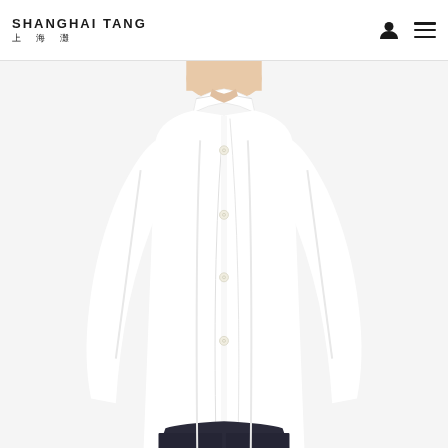SHANGHAI TANG 上海灘
[Figure (photo): Man wearing a white mandarin collar long-sleeve button-up shirt against a white background, shown from neck to waist. The shirt has small off-white buttons down the front placket and fitted long sleeves.]